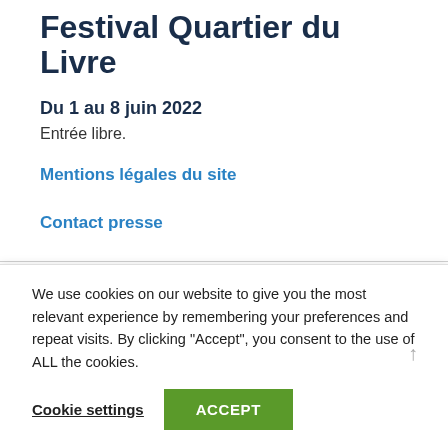Festival Quartier du Livre
Du 1 au 8 juin 2022
Entrée libre.
Mentions légales du site
Contact presse
Nous suivre
We use cookies on our website to give you the most relevant experience by remembering your preferences and repeat visits. By clicking "Accept", you consent to the use of ALL the cookies.
Cookie settings
ACCEPT